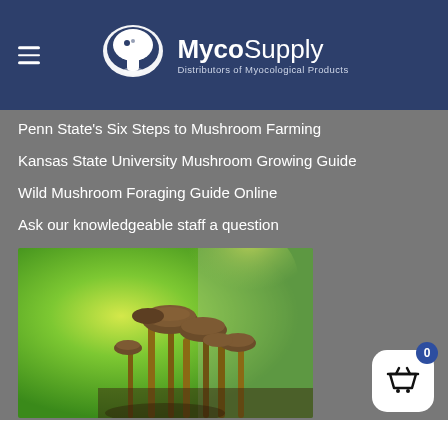MycoSupply — Distributors of Myocological Products
Penn State's Six Steps to Mushroom Farming
Kansas State University Mushroom Growing Guide
Wild Mushroom Foraging Guide Online
Ask our knowledgeable staff a question
[Figure (photo): Close-up photo of brown mushrooms with slender stems growing against a blurred green and yellow background]